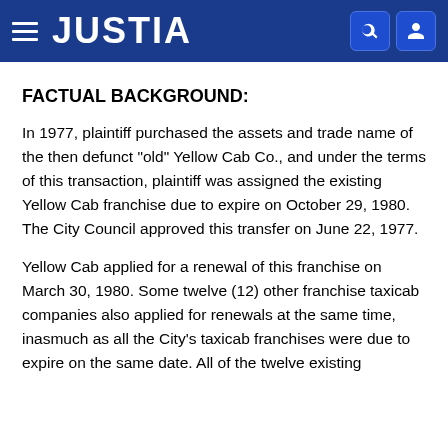JUSTIA
FACTUAL BACKGROUND:
In 1977, plaintiff purchased the assets and trade name of the then defunct "old" Yellow Cab Co., and under the terms of this transaction, plaintiff was assigned the existing Yellow Cab franchise due to expire on October 29, 1980. The City Council approved this transfer on June 22, 1977.
Yellow Cab applied for a renewal of this franchise on March 30, 1980. Some twelve (12) other franchise taxicab companies also applied for renewals at the same time, inasmuch as all the City's taxicab franchises were due to expire on the same date. All of the twelve existing